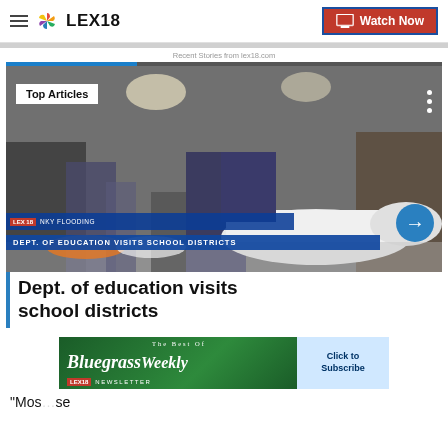LEX18 | Watch Now
Recent Stories from lex18.com
[Figure (screenshot): Video thumbnail showing feet/shoes of students walking in school hallway, with 'Top Articles' badge, ticker bar reading 'NKY FLOODING', blue banner 'DEPT. OF EDUCATION VISITS SCHOOL DISTRICTS', and a circular blue arrow navigation button]
Dept. of education visits school districts
[Figure (illustration): Bluegrass Weekly Newsletter advertisement banner with green background, italic script text 'Bluegrass Weekly' and 'Click to Subscribe' button on right side, LEX18 logo at bottom]
“Mos…se